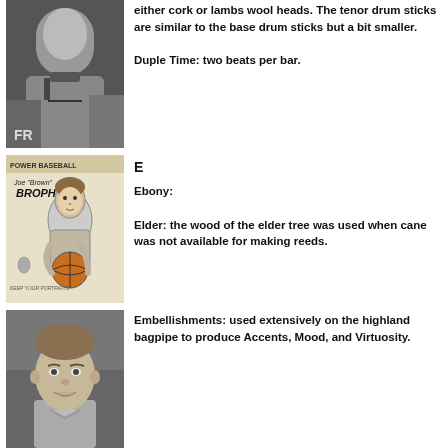[Figure (photo): Black and white photograph of a man in a suit and tie, outdoors]
either cork or lambs wool heads. The tenor drum sticks are similar to the base drum sticks but a bit smaller.

Duple Time: two beats per bar.
[Figure (illustration): Comic book style illustration of Joe Brown holding a basketball, with text 'POWER BASEBALL' at the top]
E

Ebony:

Elder: the wood of the elder tree was used when cane was not available for making reeds.
[Figure (photo): Black and white portrait photograph of a young man smiling]
Embellishments: used extensively on the highland bagpipe to produce Accents, Mood, and Virtuosity.